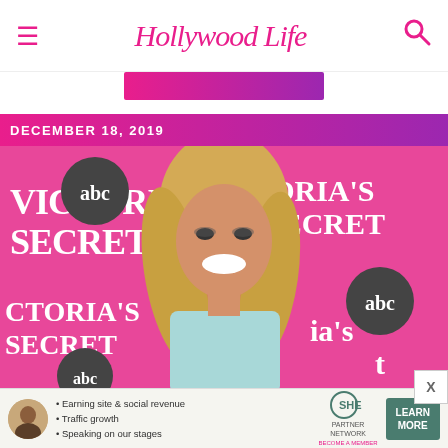Hollywood Life
[Figure (other): Pink/magenta gradient advertisement bar below navigation]
DECEMBER 18, 2019
[Figure (photo): Blonde woman smiling on a pink Victoria's Secret and ABC photo backdrop, wearing a light blue outfit]
[Figure (infographic): SHE Partner Network advertisement banner with bullet points: Earning site & social revenue, Traffic growth, Speaking on our stages. With LEARN MORE button.]